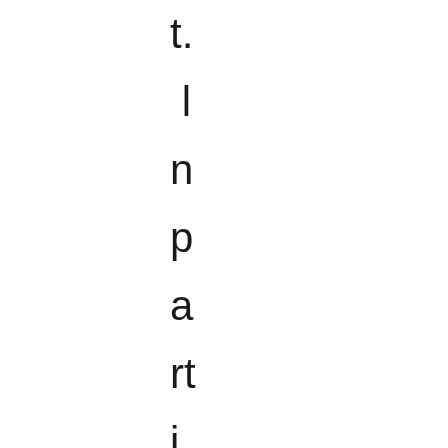t.
 l
n
p
a
rt
i
c
u
l
a
r,
t
h
e